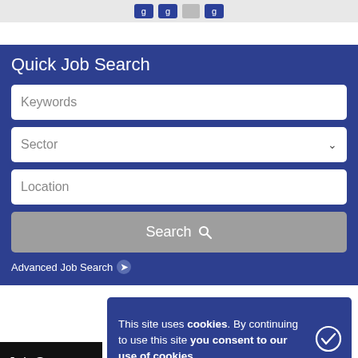Quick Job Search
Keywords
Sector
Location
Search
Advanced Job Search
Job S
This site uses cookies. By continuing to use this site you consent to our use of cookies.